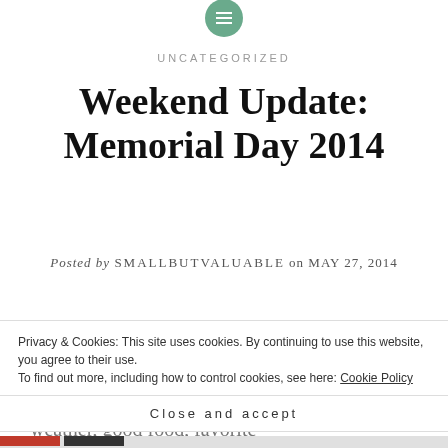[Figure (logo): Green circle icon with three horizontal white lines (hamburger menu icon)]
UNCATEGORIZED
Weekend Update: Memorial Day 2014
Posted by SMALLBUTVALUABLE on MAY 27, 2014
We got to visit our old hometown this past weekend, which was pretty fantastic.  I mean really.  There was the perfect mix of sunny weather, good food, favorite
Privacy & Cookies: This site uses cookies. By continuing to use this website, you agree to their use.
To find out more, including how to control cookies, see here: Cookie Policy
Close and accept